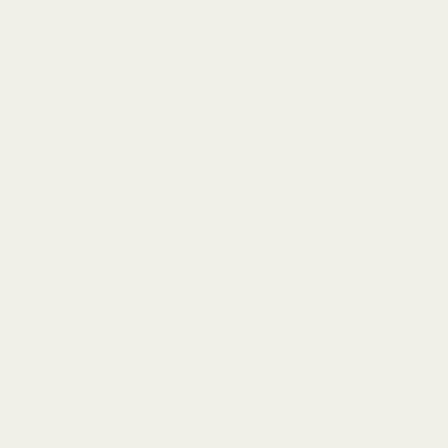When you´re a goblin, you don´t hav... else just has to step back.
Re: Current world situation... forum
by AStrangerIsHere » 14 Mar 2022, 0...
Good luck to you.
Re: Current world situation... forum
by mook1e » 22 Mar 2022, 13:21
Thanks for the work you and the team d...